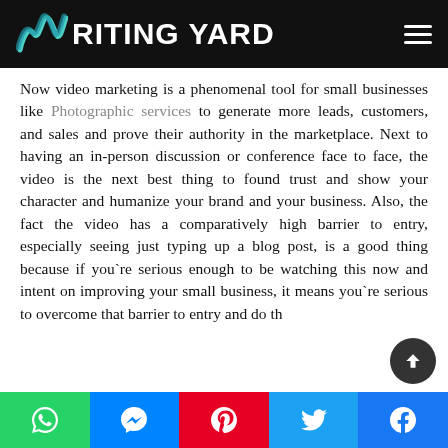WRITING YARD
Now video marketing is a phenomenal tool for small businesses like Photographic services to generate more leads, customers, and sales and prove their authority in the marketplace. Next to having an in-person discussion or conference face to face, the video is the next best thing to found trust and show your character and humanize your brand and your business. Also, the fact the video has a comparatively high barrier to entry, especially seeing just typing up a blog post, is a good thing because if you`re serious enough to be watching this now and intent on improving your small business, it means you`re serious to overcome that barrier to entry and do th